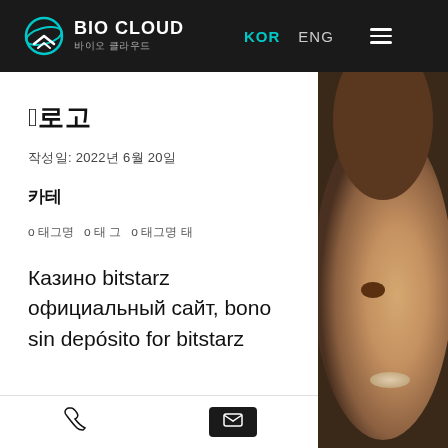BIO CLOUD 바이오 클라우드 | KOR | ENG
제목
작성일: 2022년 6월 20일
카테
о 태그명  о 태 그  о 태그명 태
Казино bitstarz официальный сайт, bono sin depósito for bitstarz